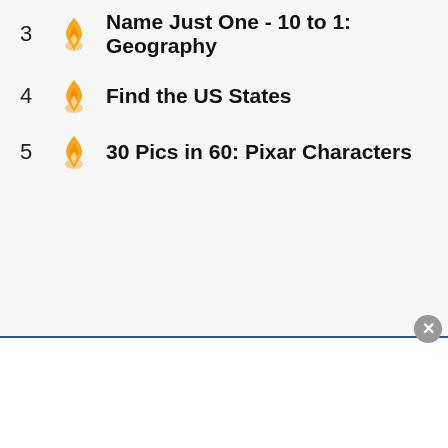3 Name Just One - 10 to 1: Geography
4 Find the US States
5 30 Pics in 60: Pixar Characters